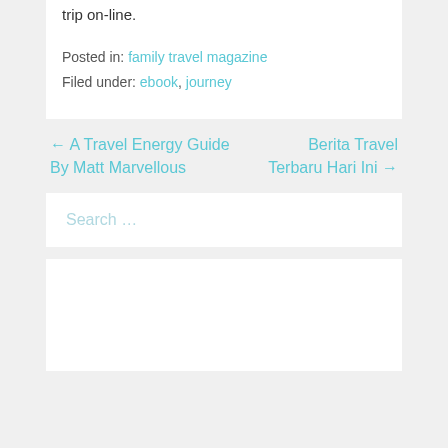trip on-line.
Posted in: family travel magazine
Filed under: ebook, journey
← A Travel Energy Guide By Matt Marvellous
Berita Travel Terbaru Hari Ini →
Search …